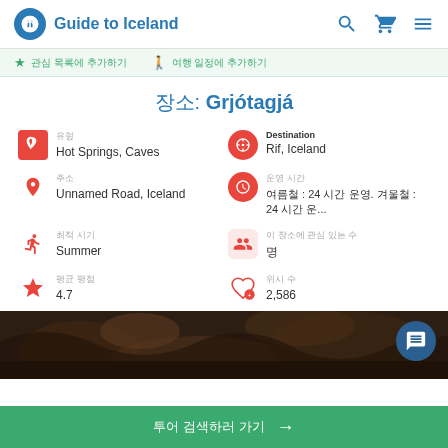Guide to Iceland
★ 관심 목록에 추가하기 | 🚶 여행 일정에 추가하기
장소: Grjótagjá
유형
Hot Springs, Caves
Destination
Rif, Iceland
주소
Unnamed Road, Iceland
운영 시간
여름철 : 24 시간 운영. 겨울철 : 24 시간 운...
최적 시기
Summer
이 장소에 관심 있는 수
명
평균 평점
4.7
위시 수
2,586
[Figure (photo): Dark cave interior with rocky surfaces, photo of Grjótagjá cave]
투어 검색하러 가기 →